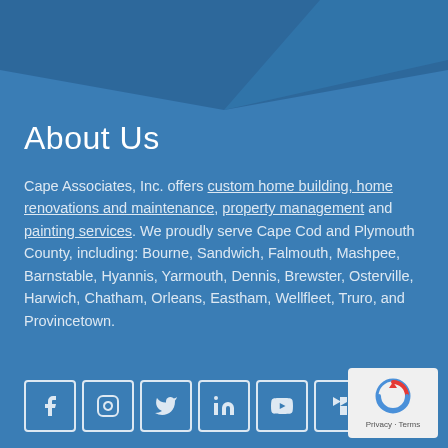[Figure (illustration): Blue background with decorative dark blue angled chevron/arrow shape at the top forming a geometric header element]
About Us
Cape Associates, Inc. offers custom home building, home renovations and maintenance, property management and painting services. We proudly serve Cape Cod and Plymouth County, including: Bourne, Sandwich, Falmouth, Mashpee, Barnstable, Hyannis, Yarmouth, Dennis, Brewster, Osterville, Harwich, Chatham, Orleans, Eastham, Wellfleet, Truro, and Provincetown.
[Figure (logo): Social media icons row: Facebook, Instagram, Twitter, LinkedIn, YouTube, Houzz — white outlined square buttons]
[Figure (logo): reCAPTCHA badge with Privacy and Terms text]